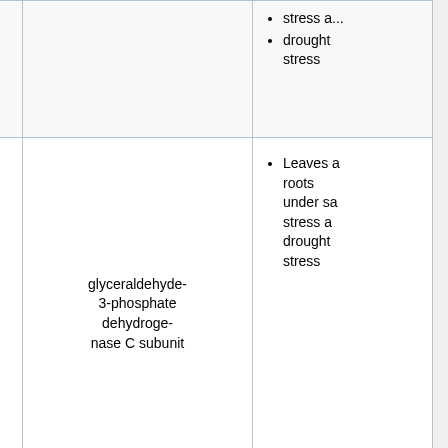| Gene | Protein | Usage |
| --- | --- | --- |
|  | protein 7 | • stress ...
• drought
  stress |
| GhGAPDH[1] | glyceraldehyde-3-phosphate dehydrogenase C subunit | • Leaves and roots under salt stress and drought stress |
| GhEF1A8[1] | translation elongation factor 1A-8 | • Leaves and roots under salt stress and drought stress |
| GhTUA10[1] | alpha-tubulin 10 | • Roots under salt stress
• Leaves and roots |